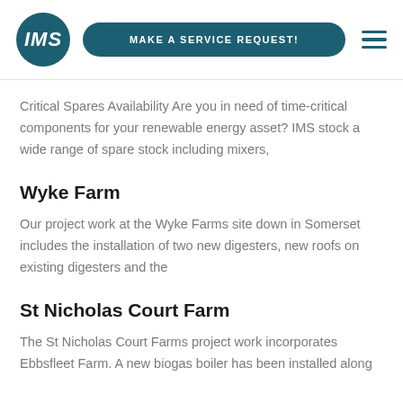IMS | MAKE A SERVICE REQUEST!
Critical Spares Availability Are you in need of time-critical components for your renewable energy asset? IMS stock a wide range of spare stock including mixers,
Wyke Farm
Our project work at the Wyke Farms site down in Somerset includes the installation of two new digesters, new roofs on existing digesters and the
St Nicholas Court Farm
The St Nicholas Court Farms project work incorporates Ebbsfleet Farm. A new biogas boiler has been installed along